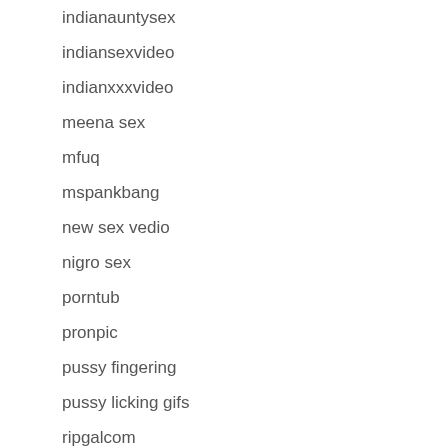indianauntysex
indiansexvideo
indianxxxvideo
meena sex
mfuq
mspankbang
new sex vedio
nigro sex
porntub
pronpic
pussy fingering
pussy licking gifs
ripgalcom
romantic xxx
sex vedeos
sex vedioscom
sex18
sexi vidio